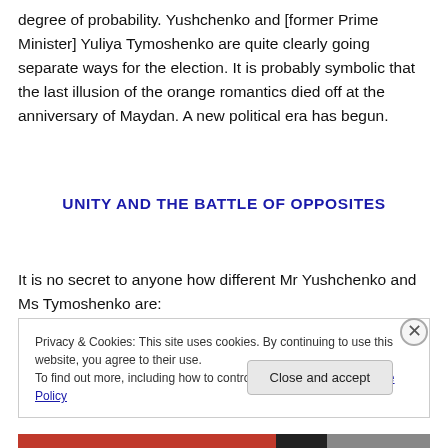degree of probability. Yushchenko and [former Prime Minister] Yuliya Tymoshenko are quite clearly going separate ways for the election. It is probably symbolic that the last illusion of the orange romantics died off at the anniversary of Maydan. A new political era has begun.
UNITY AND THE BATTLE OF OPPOSITES
It is no secret to anyone how different Mr Yushchenko and Ms Tymoshenko are:
Privacy & Cookies: This site uses cookies. By continuing to use this website, you agree to their use.
To find out more, including how to control cookies, see here: Cookie Policy